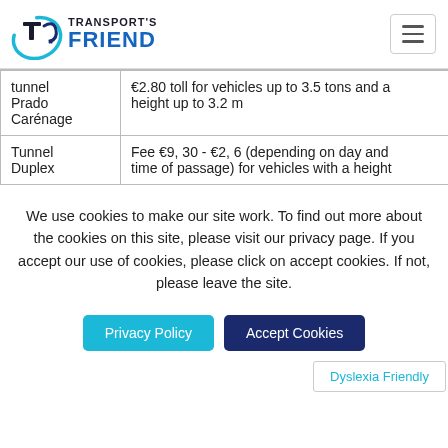Transport's Friend
|  |  |
| --- | --- |
| tunnel Prado Carénage | €2.80 toll for vehicles up to 3.5 tons and a height up to 3.2 m |
| Tunnel Duplex | Fee €9, 30 - €2, 6 (depending on day and time of passage) for vehicles with a height |
We use cookies to make our site work. To find out more about the cookies on this site, please visit our privacy page. If you accept our use of cookies, please click on accept cookies. If not, please leave the site.
Privacy Policy
Accept Cookies
Dyslexia Friendly